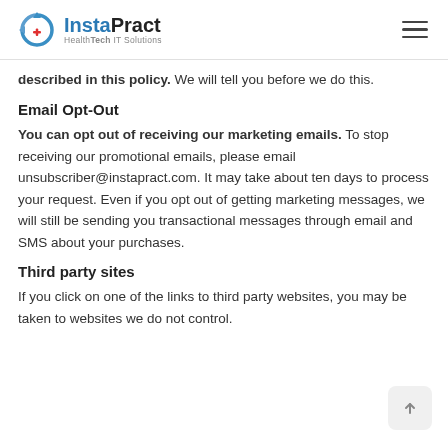InstaPract HealthTech IT Solutions
described in this policy. We will tell you before we do this.
Email Opt-Out
You can opt out of receiving our marketing emails. To stop receiving our promotional emails, please email unsubscriber@instapract.com. It may take about ten days to process your request. Even if you opt out of getting marketing messages, we will still be sending you transactional messages through email and SMS about your purchases.
Third party sites
If you click on one of the links to third party websites, you may be taken to websites we do not control.